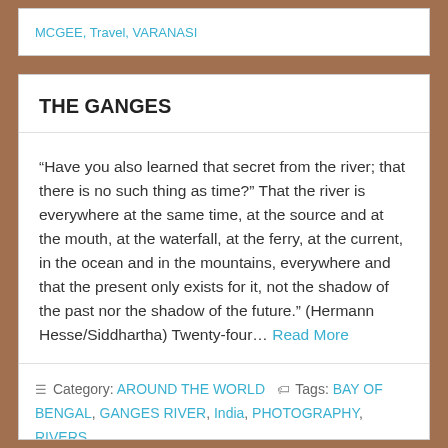MCGEE, Travel, VARANASI
THE GANGES
“Have you also learned that secret from the river; that there is no such thing as time?” That the river is everywhere at the same time, at the source and at the mouth, at the waterfall, at the ferry, at the current, in the ocean and in the mountains, everywhere and that the present only exists for it, not the shadow of the past nor the shadow of the future.” (Hermann Hesse/Siddhartha) Twenty-four… Read More
Category: AROUND THE WORLD  Tags: BAY OF BENGAL, GANGES RIVER, India, PHOTOGRAPHY, RIVERS, Travel, VARANASI